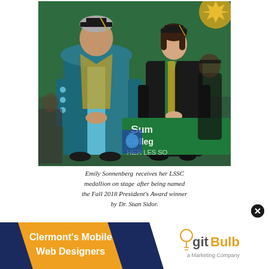[Figure (photo): Two people in graduation regalia standing together at a college commencement ceremony. The person on the left wears a teal academic robe with light blue panels and gold academic hood. The person on the right wears a black graduation gown with green and gold honor stoles. A green banner reading 'Summit College' is visible in the background.]
Emily Sonnenberg receives her LSSC medallion on stage after being named the Fall 2018 President's Award winner by Dr. Stan Sidor.
[Figure (infographic): Advertisement banner. Left side: orange/dark blue diagonal design with text 'Clermont's Mobile Web Designers'. Right side: white background with gitBulb logo and tagline 'a Marketing Company'.]